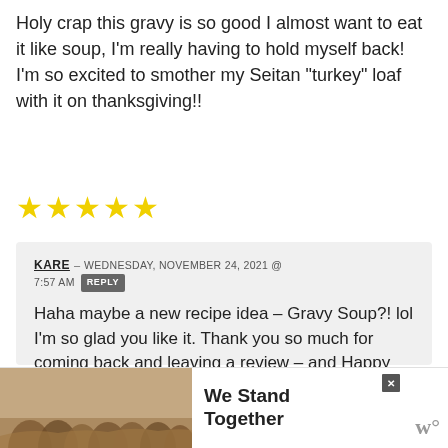Holy crap this gravy is so good I almost want to eat it like soup, I'm really having to hold myself back! I'm so excited to smother my Seitan "turkey" loaf with it on thanksgiving!!
[Figure (other): Five yellow star rating icons]
KARE – WEDNESDAY, NOVEMBER 24, 2021 @ 7:57 AM [REPLY button] Haha maybe a new recipe idea – Gravy Soup?! lol I'm so glad you like it. Thank you so much for coming back and leaving a review – and Happy Thanksgiving!
[Figure (other): Advertisement banner: photo of people from behind with arms around each other, text reads 'We Stand Together', with close X button and W logo]